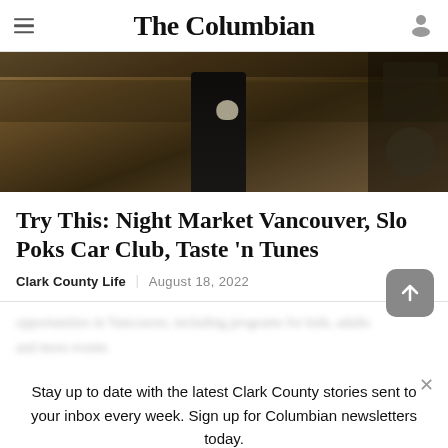The Columbian
[Figure (photo): A woman in a dark top holds a small animal (cat or dog) inside a shop with shelves of merchandise in the background. The scene appears to be a market or boutique store.]
Try This: Night Market Vancouver, Slo Poks Car Club, Taste 'n Tunes
Clark County Life | August 18, 2022
Stay up to date with the latest Clark County stories sent to your inbox every week. Sign up for Columbian newsletters today.
Sign up >